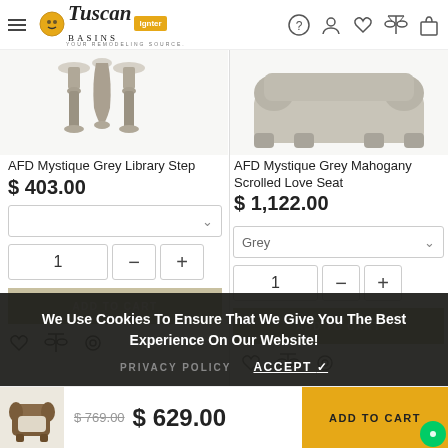Tuscan Basins - Navigation bar with logo, hamburger menu, and icons
[Figure (screenshot): Product image area for AFD Mystique Grey Library Step]
AFD Mystique Grey Library Step
$ 403.00
[Figure (screenshot): Product image area for AFD Mystique Grey Mahogany Scrolled Love Seat]
AFD Mystique Grey Mahogany Scrolled Love Seat
$ 1,122.00
We Use Cookies To Ensure That We Give You The Best Experience On Our Website!
PRIVACY POLICY   ACCEPT ✓
[Figure (screenshot): Cart bar with thumbnail of wicker chair, prices $769.00 and $629.00, and ADD TO CART button]
$ 769.00  $ 629.00  ADD TO CART